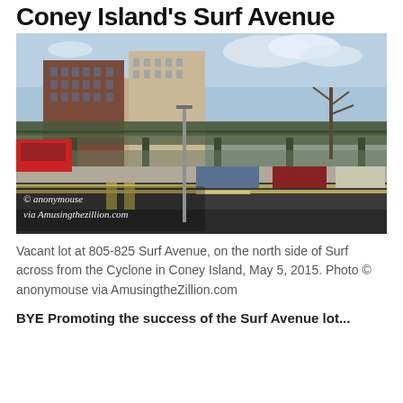Coney Island's Surf Avenue
[Figure (photo): Street-level photo of a vacant lot at 805-825 Surf Avenue, Coney Island. In the background are tall brick residential buildings and an elevated train structure. Several cars are parked along the street. The foreground shows a wide asphalt intersection with crosswalk markings. A watermark reads '© anonymouse via Amusingthezillion.com'.]
Vacant lot at 805-825 Surf Avenue, on the north side of Surf across from the Cyclone in Coney Island, May 5, 2015. Photo © anonymouse via AmusingtheZillion.com
BYE Promoting the success of the Surf Avenue lot...